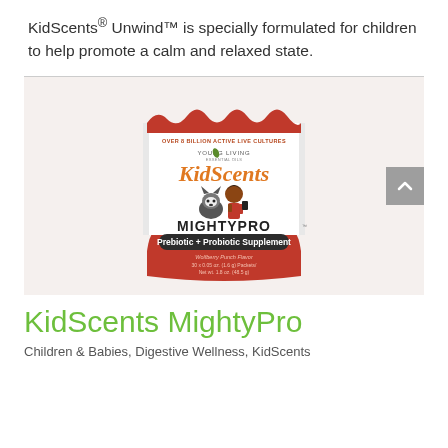KidScents® Unwind™ is specially formulated for children to help promote a calm and relaxed state.
[Figure (photo): KidScents MightyPro Prebiotic + Probiotic Supplement product bag. White pouch with red wavy top and bottom, Young Living logo, KidScents branding in orange, MIGHTYPRO in dark text, 'Prebiotic + Probiotic Supplement' on dark band, cartoon of child and husky dog, Wolfberry Punch Flavor, 30 x 0.05 oz. (1.6 g) Packets / Net wt. 1.8 oz. (48.5 g)]
KidScents MightyPro
Children & Babies, Digestive Wellness, KidScents